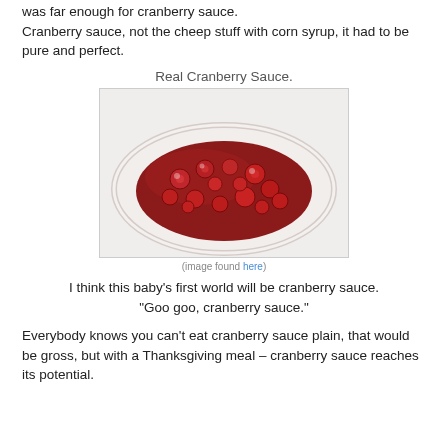was far enough for cranberry sauce. Cranberry sauce, not the cheep stuff with corn syrup, it had to be pure and perfect.
Real Cranberry Sauce.
[Figure (photo): A white ceramic dish filled with homemade cranberry sauce with whole cranberries visible in a dark red glossy sauce.]
(image found here)
I think this baby's first world will be cranberry sauce. "Goo goo, cranberry sauce."
Everybody knows you can't eat cranberry sauce plain, that would be gross, but with a Thanksgiving meal – cranberry sauce reaches its potential.